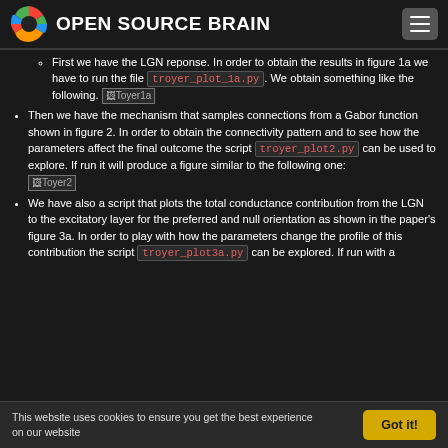OPEN SOURCE BRAIN
First we have the LGN reponse. In order to obtain the results in figure 1a we have to run the file troyer_plot_1a.py. We obtain something like the following. [Toyer1a image]
Then we have the mechanism that samples connections from a Gabor function shown in figure 2. In order to obtain the connectivity pattern and to see how the parameters affect the final outcome the script troyer_plot2.py can be used to explore. If run it will produce a figure similar to the following one: [Toyer2 image]
We have also a script that plots the total conductance contribution from the LGN to the excitatory layer for the preferred and null orientation as shown in the paper's figure 3a. In order to play with how the parameters change the profile of this contribution the script troyer_plot3a.py can be explored. If run with a
This website uses cookies to ensure you get the best experience on our website